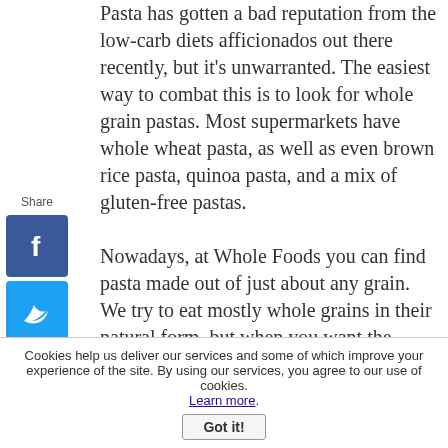Pasta has gotten a bad reputation from the low-carb diets afficionados out there recently, but it's unwarranted. The easiest way to combat this is to look for whole grain pastas. Most supermarkets have whole wheat pasta, as well as even brown rice pasta, quinoa pasta, and a mix of gluten-free pastas.
Nowadays, at Whole Foods you can find pasta made out of just about any grain. We try to eat mostly whole grains in their natural form, but when you want the convenience and indulgence of vegan pasta recipes, go for the better-for-you whole grain pasta options.
What's better with pasta than cheese, right? If you're looking for some great vegan cheese recipes, check out the ebook we wrote called Cut the Cheese, all about
Cookies help us deliver our services and some of which improve your experience of the site. By using our services, you agree to our use of cookies. Learn more. Got it!